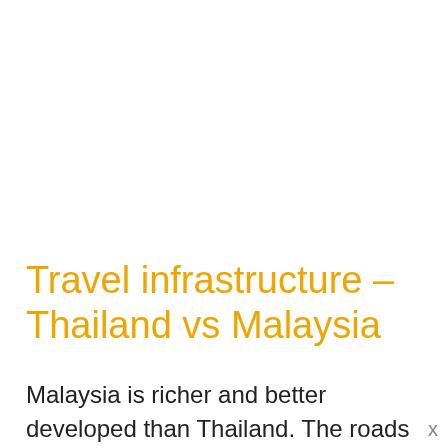Travel infrastructure – Thailand vs Malaysia
Malaysia is richer and better developed than Thailand. The roads are better, it has more cars and taxis and fewer tuk tuks and songthaews. I